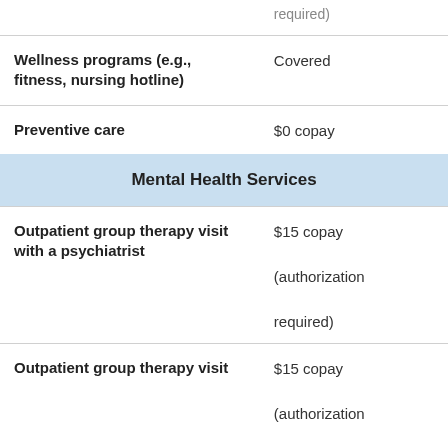| Service | Cost |
| --- | --- |
| (continuation — required) |  |
| Wellness programs (e.g., fitness, nursing hotline) | Covered |
| Preventive care | $0 copay |
| Mental Health Services |  |
| Outpatient group therapy visit with a psychiatrist | $15 copay (authorization required) |
| Outpatient group therapy visit | $15 copay (authorization |